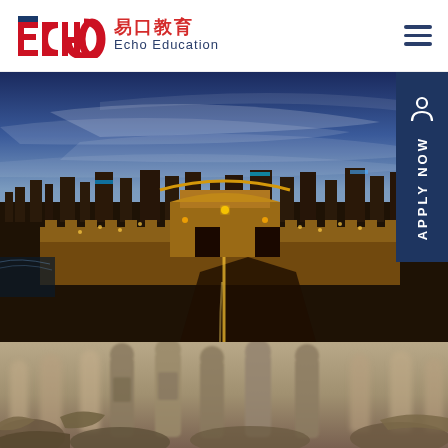[Figure (logo): Echo Education logo with ECHO text in red/blue, Chinese characters 易口教育 in red, and Echo Education in blue]
[Figure (photo): Aerial night cityscape of Xi'an, China, showing illuminated ancient city wall and modern skyline with blue sky]
[Figure (photo): Close-up photo of Terracotta Army warriors, showing stone warrior figures]